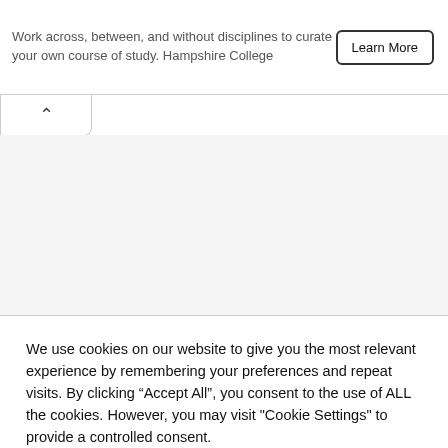Work across, between, and without disciplines to curate your own course of study. Hampshire College
Learn More
We use cookies on our website to give you the most relevant experience by remembering your preferences and repeat visits. By clicking “Accept All”, you consent to the use of ALL the cookies. However, you may visit "Cookie Settings" to provide a controlled consent.
Cookie Settings
Accept All